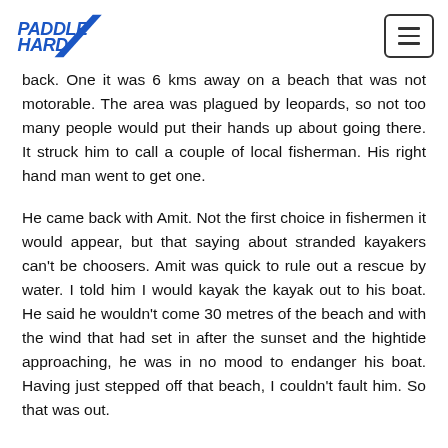Paddle Hard
back. One it was 6 kms away on a beach that was not motorable. The area was plagued by leopards, so not too many people would put their hands up about going there. It struck him to call a couple of local fisherman. His right hand man went to get one.
He came back with Amit. Not the first choice in fishermen it would appear, but that saying about stranded kayakers can't be choosers. Amit was quick to rule out a rescue by water. I told him I would kayak the kayak out to his boat. He said he wouldn't come 30 metres of the beach and with the wind that had set in after the sunset and the hightide approaching, he was in no mood to endanger his boat. Having just stepped off that beach, I couldn't fault him. So that was out.